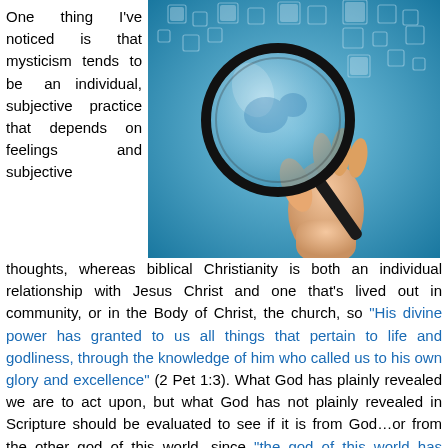One thing I've noticed is that mysticism tends to be an individual, subjective practice that depends on feelings and subjective
[Figure (photo): A hand holding a magnifying glass against a blue background with floating square icons, suggesting research or investigation.]
thoughts, whereas biblical Christianity is both an individual relationship with Jesus Christ and one that's lived out in community, or in the Body of Christ, the church, so “His divine power has granted to us all things that pertain to life and godliness, through the knowledge of him who called us to his own glory and excellence” (2 Pet 1:3). What God has plainly revealed we are to act upon, but what God has not plainly revealed in Scripture should be evaluated to see if it is from God…or from the other god of this world, since “the god of this world has blinded the minds of the unbelievers, to keep them from seeing the light of the gospel of the glory of Christ, who is the image of God” (2 Cor 4:4). The main things are the plain things, but